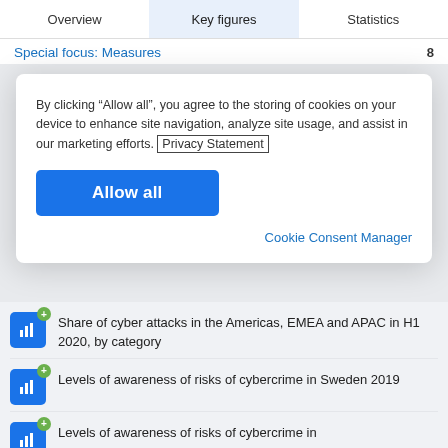Overview | Key figures | Statistics
Special focus: Measures  8
By clicking “Allow all”, you agree to the storing of cookies on your device to enhance site navigation, analyze site usage, and assist in our marketing efforts. Privacy Statement
Allow all
Cookie Consent Manager
Share of cyber attacks in the Americas, EMEA and APAC in H1 2020, by category
Levels of awareness of risks of cybercrime in Sweden 2019
Levels of awareness of risks of cybercrime in